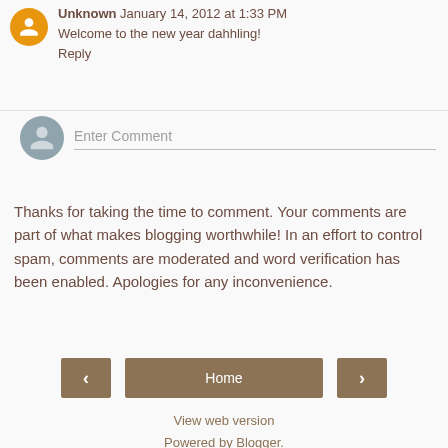Unknown  January 14, 2012 at 1:33 PM
Welcome to the new year dahhling!
Reply
Enter Comment
Thanks for taking the time to comment. Your comments are part of what makes blogging worthwhile! In an effort to control spam, comments are moderated and word verification has been enabled. Apologies for any inconvenience.
‹
Home
›
View web version
Powered by Blogger.